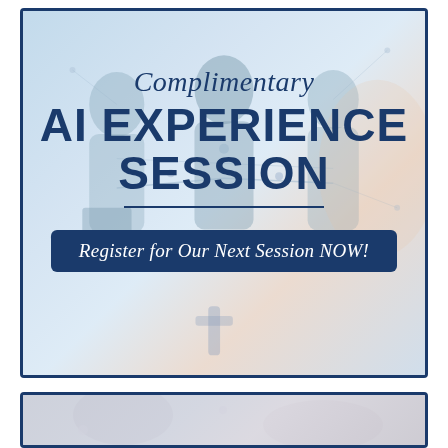[Figure (infographic): Promotional banner for a Complimentary AI Experience Session. Background shows blurred silhouettes of professionals in a network/tech setting with a light blue overlay. Text overlay reads 'Complimentary' in italic serif, then 'AI EXPERIENCE SESSION' in large bold sans-serif, a horizontal divider line, and a dark navy button reading 'Register for Our Next Session NOW!' in italic serif.]
[Figure (photo): Partial image at the bottom of the page showing a muted/blurred scene, appears to be another promotional image cropped at the page bottom edge.]